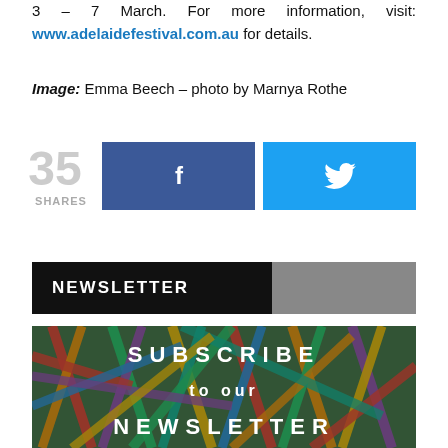3 – 7 March. For more information, visit: www.adelaidefestival.com.au for details.
Image: Emma Beech – photo by Marnya Rothe
[Figure (infographic): Social sharing widget showing 35 shares with Facebook and Twitter buttons]
NEWSLETTER
[Figure (photo): Subscribe to our Newsletter banner image showing colorful sticks/matchsticks with text overlay reading SUBSCRIBE to our NEWSLETTER]